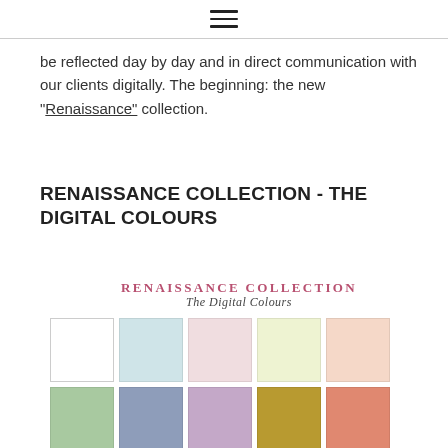[hamburger menu icon]
be reflected day by day and in direct communication with our clients digitally. The beginning: the new “Renaissance” collection.
RENAISSANCE COLLECTION - THE DIGITAL COLOURS
[Figure (illustration): Renaissance Collection - The Digital Colours logo and color palette swatches showing rows of pastel and saturated color squares including white, light blue, light pink, light yellow, light peach in first row; sage green, slate blue, mauve, golden yellow, salmon in second row; and partial third row visible.]